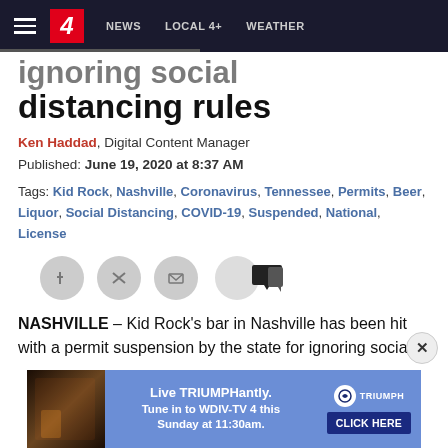4 | NEWS | LOCAL 4+ | WEATHER
ignoring social distancing rules
Ken Haddad, Digital Content Manager
Published: June 19, 2020 at 8:37 AM
Tags: Kid Rock, Nashville, Coronavirus, Tennessee, Permits, Beer, Liquor, Social Distancing, COVID-19, Suspended, National, License
NASHVILLE – Kid Rock's bar in Nashville has been hit with a permit suspension by the state for ignoring social
[Figure (screenshot): Advertisement banner: Live TRIUMPHantly. Tune in to WDIV-TV 4 this Sunday at 11:30am. Triumph logo. CLICK HERE button.]